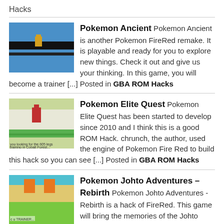Hacks
Pokemon Ancient Pokemon Ancient is another Pokemon FireRed remake. It is playable and ready for you to explore new things. Check it out and give us your thinking. In this game, you will become a trainer [...] Posted in GBA ROM Hacks
Pokemon Elite Quest Pokemon Elite Quest has been started to develop since 2010 and I think this is a good ROM Hack. chrunch, the author, used the engine of Pokemon Fire Red to build this hack so you can see [...] Posted in GBA ROM Hacks
Pokemon Johto Adventures – Rebirth Pokemon Johto Adventures - Rebirth is a hack of FireRed. This game will bring the memories of the Johto region back to us. Well, since there are many hacks which contain the first season [...]